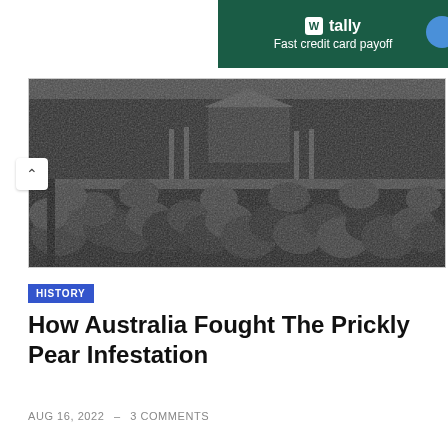[Figure (screenshot): Tally app advertisement banner with dark green background, Tally logo and text 'Fast credit card payoff']
[Figure (photo): Black and white photograph of a dense prickly pear cactus infestation covering farmland with a wooden shed visible in the background]
HISTORY
How Australia Fought The Prickly Pear Infestation
AUG 16, 2022  –  3 COMMENTS